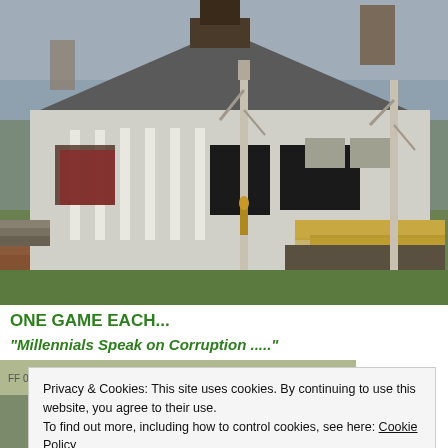[Figure (photo): Exterior photo of an abandoned or dilapidated building with white columns, a shingled roof with damage, birch trees in the foreground, a gold statue visible, and plywood ramps, under an overcast sky.]
ONE GAME EACH...
“Millennials Speak on Corruption .....”
[Figure (photo): Partially visible photo strip showing an outdoor scene, partially obscured by a cookie consent banner.]
Privacy & Cookies: This site uses cookies. By continuing to use this website, you agree to their use.
To find out more, including how to control cookies, see here: Cookie Policy
Close and accept